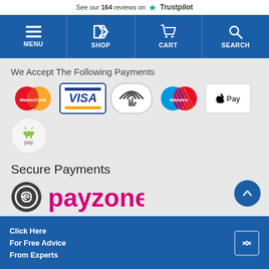See our 164 reviews on Trustpilot
[Figure (screenshot): Navigation bar with Menu, Shop, Cart, Search icons on blue background]
We Accept The Following Payments
[Figure (infographic): Payment method logos: MasterCard, Visa, Contactless, Maestro, Apple Pay, Android Pay]
Secure Payments
[Figure (logo): Payzone logo with circular icon and magenta text]
Click Here For Free Advice From Experts